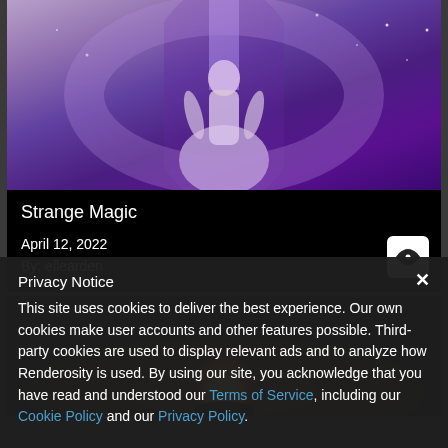[Figure (illustration): Top portion of a 3D render showing a female figure in a white/lavender gown against a deep purple background with glowing light effects and stars]
Strange Magic
April 12, 2022
By: ellearden
[Figure (illustration): Bottom 3D render showing a dark warm-toned scene with firelight/sparks in the center against a brown and black background]
Privacy Notice
This site uses cookies to deliver the best experience. Our own cookies make user accounts and other features possible. Third-party cookies are used to display relevant ads and to analyze how Renderosity is used. By using our site, you acknowledge that you have read and understood our Terms of Service, including our Cookie Policy and our Privacy Policy.